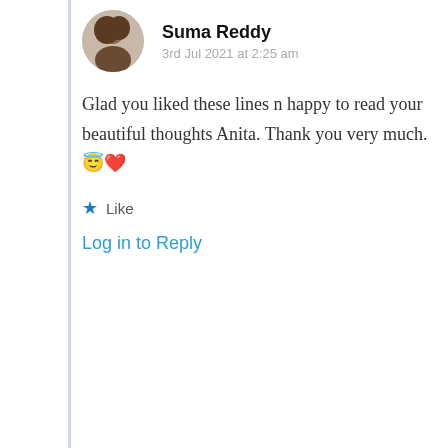Suma Reddy
3rd Jul 2021 at 2:25 am
Glad you liked these lines n happy to read your beautiful thoughts Anita. Thank you very much. 😇❤️
★ Like
Log in to Reply
Privacy & Cookies: This site uses cookies. By continuing to use this website, you agree to their use.
To find out more, including how to control cookies, see here: Cookie Policy
Close and accept